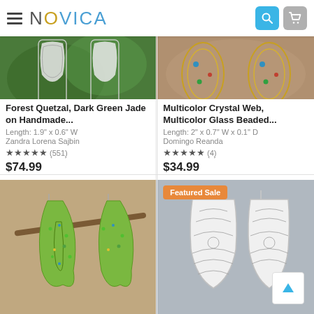NOVICA
[Figure (photo): Silver filigree dark green jade earrings on green leaf background (top cropped)]
Forest Quetzal, Dark Green Jade on Handmade...
Length: 1.9" x 0.6" W
Zandra Lorena Sajbin
★★★★★ (551)
$74.99
[Figure (photo): Gold and crystal multicolor earrings on brown background (top cropped)]
Multicolor Crystal Web, Multicolor Glass Beaded...
Length: 2" x 0.7" W x 0.1" D
Domingo Reanda
★★★★★ (4)
$34.99
[Figure (photo): Green crystal beaded teardrop silver earrings on branch]
[Figure (photo): Silver filigree bell-shaped earrings on grey background with Featured Sale badge]